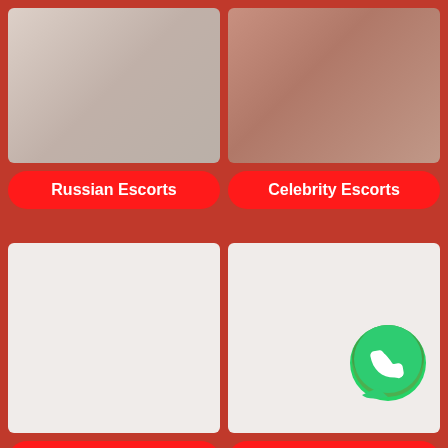[Figure (photo): Photo of a person in blue swimwear on white bedding]
[Figure (photo): Photo showing torso with gold chain anklet/waist chain]
Russian Escorts
Celebrity Escorts
[Figure (photo): Blank white placeholder image box]
[Figure (photo): Blank white placeholder image box with WhatsApp icon]
Air hostess Escorts
High Profile Escorts
[Figure (photo): Bottom left partial image placeholder]
[Figure (photo): Bottom right partial image placeholder]